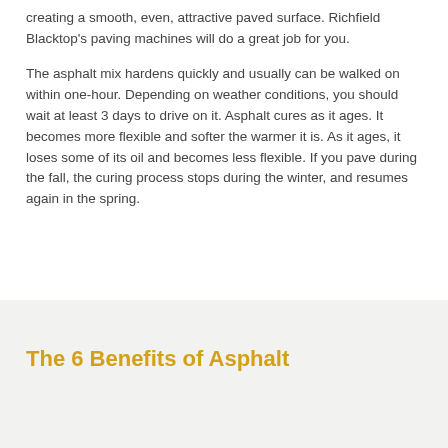creating a smooth, even, attractive paved surface. Richfield Blacktop's paving machines will do a great job for you.
The asphalt mix hardens quickly and usually can be walked on within one-hour. Depending on weather conditions, you should wait at least 3 days to drive on it. Asphalt cures as it ages. It becomes more flexible and softer the warmer it is. As it ages, it loses some of its oil and becomes less flexible. If you pave during the fall, the curing process stops during the winter, and resumes again in the spring.
The 6 Benefits of Asphalt